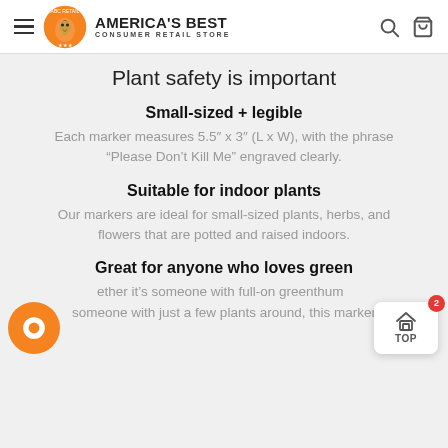AMERICA'S BEST CONSUMER RETAIL STORE
Plant safety is important
Small-sized + legible
Each marker measures 5.5" x 3" (L x W), with the phrase “Please Don’t Kill Me” engraved clearly.
Suitable for indoor plants
Our markers are ideal for small-sized plants, herbs, and flowers that are potted and raised indoors.
Great for anyone who loves green
ether it’s someone with full-on greenthum... someone with just a few plants around, this marker